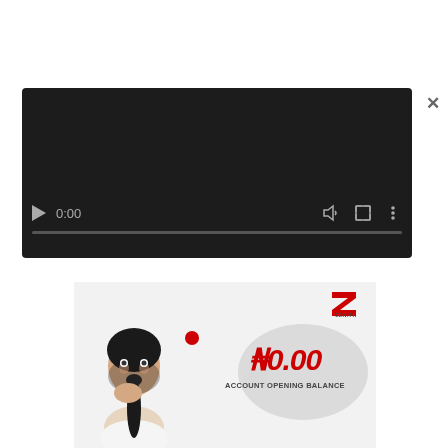[Figure (screenshot): Video player UI with dark background, play button, 0:00 timestamp, progress bar, volume, fullscreen and more icons]
[Figure (advertisement): Zenith Bank advertisement showing a surprised woman, Zenith Bank logo (Z), speech bubble with N0.00 account opening balance text on a light grey background]